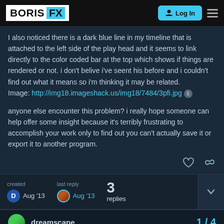BORIS FX | Log In
I also noticed there is a dark blue line in my timeline that is attached to the left side of the play head and it seems to link directly to the color coded bar at the top which shows if things are rendered or not. i don't belive i've seent his before and i couldn't find out what it means so i'm thinking it may be related. Image: http://img18.imageshack.us/img18/7484/3pfi.jpg
anyone else encounter this problem? i really hope someone can help offer some insight because it's terribly frustrating to accomplish your work only to find out you can't actually save it or export it to another program.
created Aug '13   last reply Aug '13   3 replies
dreamscape   1 / 4